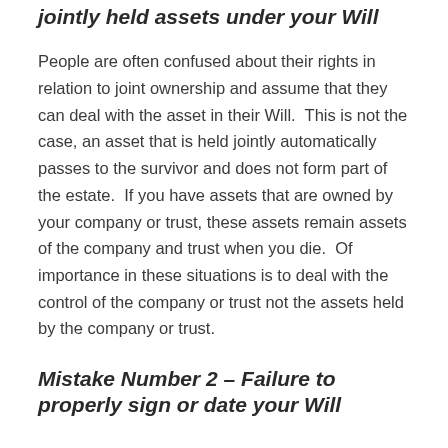jointly held assets under your Will
People are often confused about their rights in relation to joint ownership and assume that they can deal with the asset in their Will.  This is not the case, an asset that is held jointly automatically passes to the survivor and does not form part of the estate.  If you have assets that are owned by your company or trust, these assets remain assets of the company and trust when you die.  Of importance in these situations is to deal with the control of the company or trust not the assets held by the company or trust.
Mistake Number 2 – Failure to properly sign or date your Will